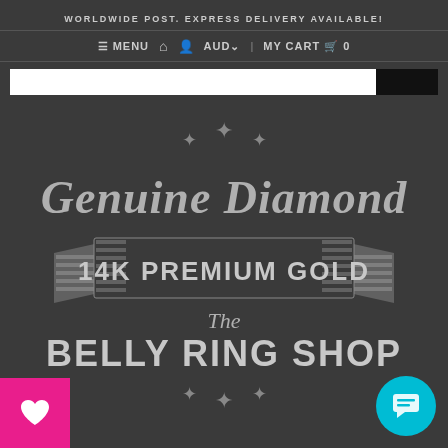WORLDWIDE POST. EXPRESS DELIVERY AVAILABLE!
≡ MENU  🏠  👤  AUD∨    MY CART 🛍 0
[Figure (logo): The Belly Ring Shop logo with cursive 'Genuine Diamond' text, banner reading '14K PREMIUM GOLD', cursive 'The', bold 'BELLY RING SHOP', decorative stars, on dark background]
[Figure (other): Pink heart wishlist button in bottom-left corner]
[Figure (other): Teal circular chat support button in bottom-right corner]